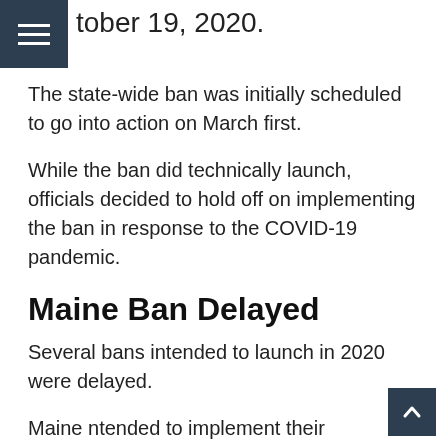tober 19, 2020.
The state-wide ban was initially scheduled to go into action on March first.
While the ban did technically launch, officials decided to hold off on implementing the ban in response to the COVID-19 pandemic.
Maine Ban Delayed
Several bans intended to launch in 2020 were delayed.
Maine ntended to implement their disposable plastic bag ban in April, but are now planning on a start date in 2021. The ban was delayed partly due to concern about the safety of reusable bags during a pandemic, but also over concern of dedicating resources that are already